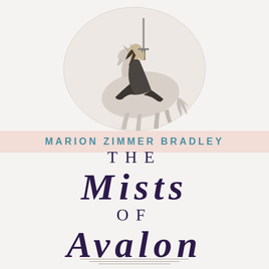[Figure (illustration): A grayscale illustration of a woman in a dark cloak riding a white horse, holding a sword upright. The scene is set within a soft oval/elliptical vignette background on a light cream/off-white cover.]
MARION ZIMMER BRADLEY
THE MISTS OF AVALON